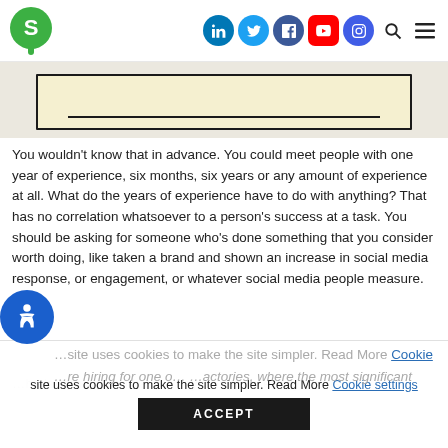S [logo] — social media nav icons, search, menu
[Figure (illustration): Partially visible banner/sign illustration with black border on light yellow background, cropped at top]
You wouldn't know that in advance. You could meet people with one year of experience, six months, six years or any amount of experience at all. What do the years of experience have to do with anything? That has no correlation whatsoever to a person's success at a task. You should be asking for someone who's done something that you consider worth doing, like taken a brand and shown an increase in social media response, or engagement, or whatever social media people measure.
…hat's so obvious I hate to say it, but somebody needs
…site uses cookies to make the site simpler. Read More Cookie settings
…re hiring for one o… …actories, where the most significant factor (and it probably wasn't